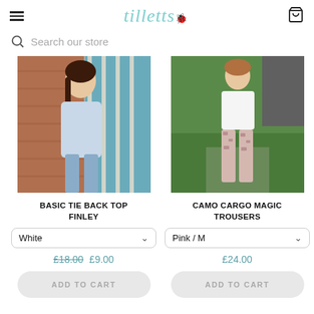tilletts (logo with hamburger menu and cart icon)
Search our store
[Figure (photo): Woman wearing a light blue basic tie back top (Finley) standing in front of a brick wall with garden trellis]
BASIC TIE BACK TOP FINLEY
White (variant selector dropdown)
£18.00  £9.00
ADD TO CART
[Figure (photo): Woman wearing white top and pink/beige camo print cargo trousers standing in a garden]
CAMO CARGO MAGIC TROUSERS
Pink / M (variant selector dropdown)
£24.00
ADD TO CART